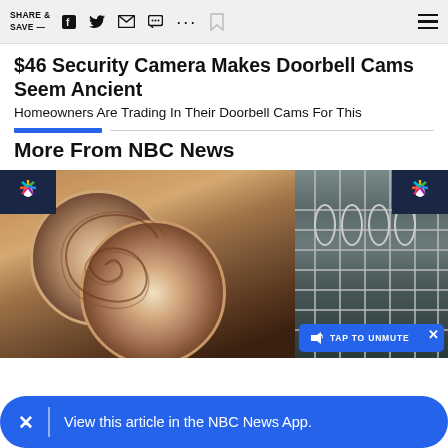SHARE & SAVE —
$46 Security Camera Makes Doorbell Cams Seem Ancient
Homeowners Are Trading In Their Doorbell Cams For This
More From NBC News
[Figure (photo): NBC News article thumbnails showing decorative plates and a dishwasher]
View this article in the NBC News App.